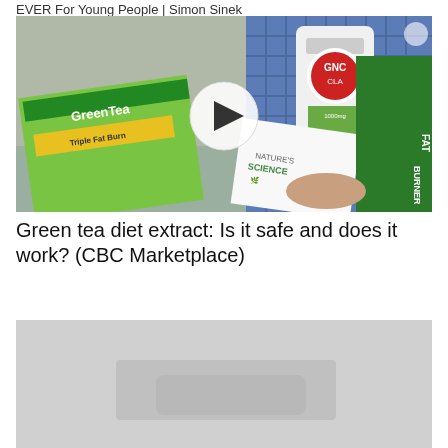EVER For Young People | Simon Sinek
[Figure (screenshot): Video thumbnail showing a person holding various green tea diet supplement products including GreenTea Triple Fat Burner, CLA supplement bottle, Nature's Science product box, and FAT BURNER packaging. A circular play button is overlaid in the center.]
Green tea diet extract: Is it safe and does it work? (CBC Marketplace)
[Figure (screenshot): Partial video thumbnail showing a light gray surface, appears to be the beginning of another video, content not fully visible.]